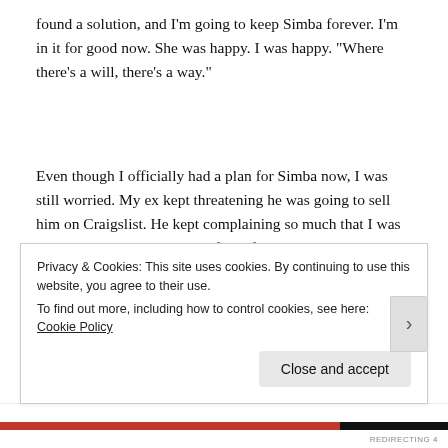found a solution, and I'm going to keep Simba forever. I'm in it for good now. She was happy. I was happy. "Where there's a will, there's a way."
Even though I officially had a plan for Simba now, I was still worried. My ex kept threatening he was going to sell him on Craigslist. He kept complaining so much that I was concerned about my dog's safety. If I know my ex, I know he's irresponsible and inconsistent. He would overfeed
Privacy & Cookies: This site uses cookies. By continuing to use this website, you agree to their use.
To find out more, including how to control cookies, see here: Cookie Policy